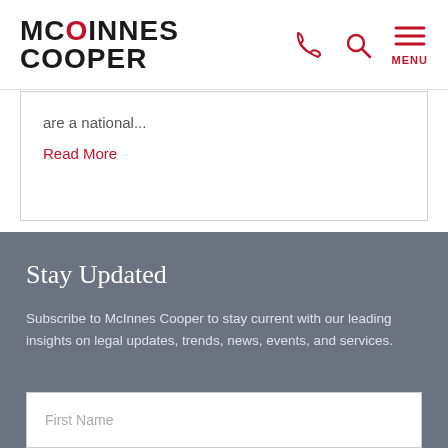McInnes Cooper
are a national...
Read More
Stay Updated
Subscribe to McInnes Cooper to stay current with our leading insights on legal updates, trends, news, events, and services.
First Name